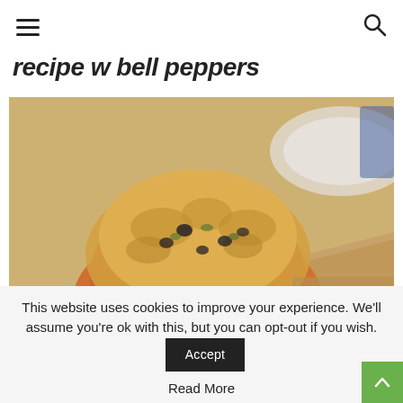≡  [search icon]
recipe w bell peppers
[Figure (photo): Close-up food photo of a cheesy stuffed bell pepper casserole scoop being lifted on a wooden spatula, showing melted cheese, corn, black beans, and tomato filling. Background shows a baking dish.]
This website uses cookies to improve your experience. We'll assume you're ok with this, but you can opt-out if you wish.
Accept
Read More